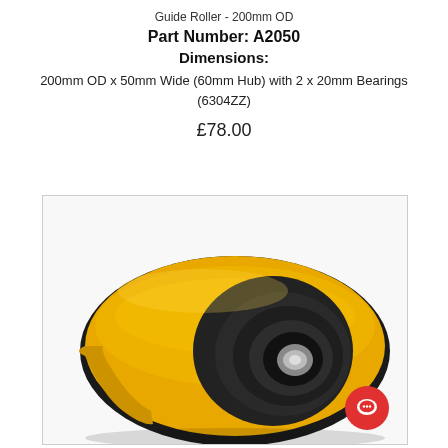Guide Roller - 200mm OD
Part Number: A2050
Dimensions:
200mm OD x 50mm Wide (60mm Hub) with 2 x 20mm Bearings (6304ZZ)
£78.00
[Figure (photo): A yellow polyurethane guide roller with black hub and center bearing, viewed from a slight angle showing the bearing bore and tread profile.]